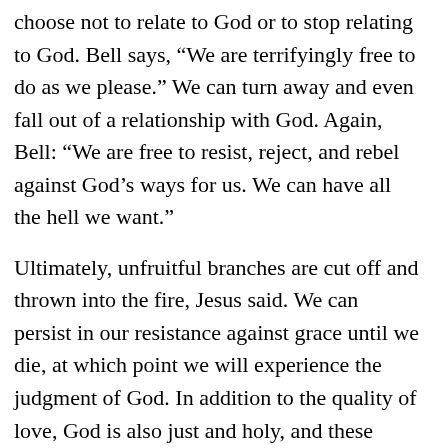choose not to relate to God or to stop relating to God. Bell says, “We are terrifyingly free to do as we please.” We can turn away and even fall out of a relationship with God. Again, Bell: “We are free to resist, reject, and rebel against God’s ways for us. We can have all the hell we want.”
Ultimately, unfruitful branches are cut off and thrown into the fire, Jesus said. We can persist in our resistance against grace until we die, at which point we will experience the judgment of God. In addition to the quality of love, God is also just and holy, and these attributes do not allow a relationship with sin. If we turn to God in faith, this is not a